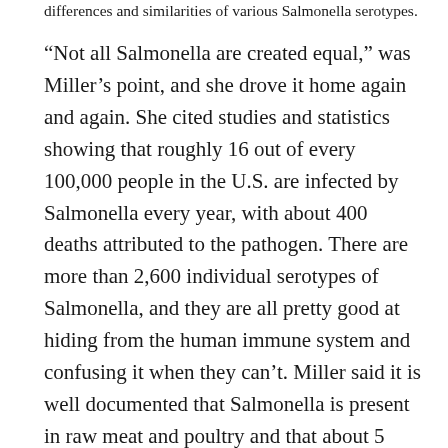differences and similarities of various Salmonella serotypes.
“Not all Salmonella are created equal,” was Miller’s point, and she drove it home again and again. She cited studies and statistics showing that roughly 16 out of every 100,000 people in the U.S. are infected by Salmonella every year, with about 400 deaths attributed to the pathogen. There are more than 2,600 individual serotypes of Salmonella, and they are all pretty good at hiding from the human immune system and confusing it when they can’t. Miller said it is well documented that Salmonella is present in raw meat and poultry and that about 5 percent of people who are sickened by it develop a blood infection that can be fatal or cause lifelong medical problems. Editor’s note: Bill Marler of the Marler Clark law firm is publisher of